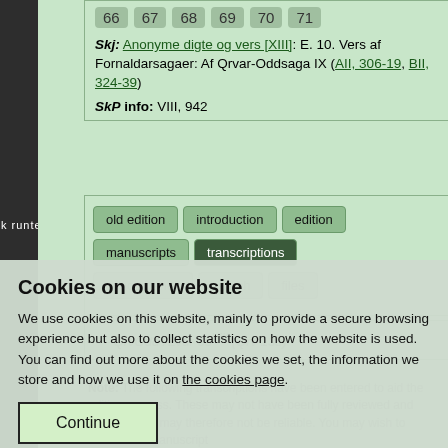Samnordisk runtextdatabas Samnordisk textdatabas
66 67 68 69 70 71
Skj: Anonyme digte og vers [XIII]: E. 10. Vers af Fornaldarsagaer: Af Qrvar-Oddsaga IX (AII, 306-19, BII, 324-39)
SkP info: VIII, 942
old edition | introduction | edition | manuscripts | transcriptions | concordance | search | files
QrvOdd Ævdr 65VIII (Qrv 135)
Cookies on our website
We use cookies on this website, mainly to provide a secure browsing experience but also to collect statistics on how the website is used. You can find out more about the cookies we set, the information we store and how we use it on the cookies page.
Continue
Note: The following transcriptions have been entered to aid the editing process. These may not have been fully reviewed and checked and may therefore not be reliable. You may wish to consult the manuscript